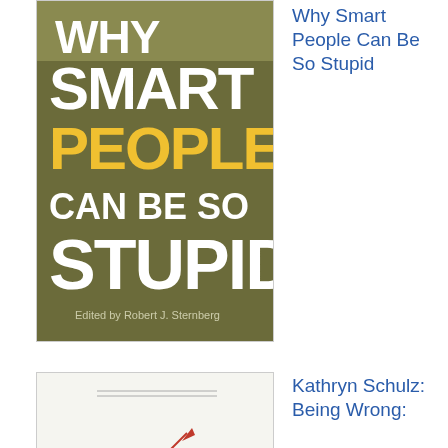[Figure (illustration): Book cover: Why Smart People Can Be So Stupid - dark olive/khaki background with bold white and yellow text]
Why Smart People Can Be So Stupid
[Figure (illustration): Book cover: Being Wrong: Adventures in the Margin of Error by Kathryn Schulz - white background with large serif text and bullseye graphic replacing the 'o' in Wrong]
Kathryn Schulz: Being Wrong:
Adventures in the Margin of Error
[Figure (illustration): Book cover: The Klutz Book of Inventions - dark navy background with red circular badge]
editors of Klutz: The